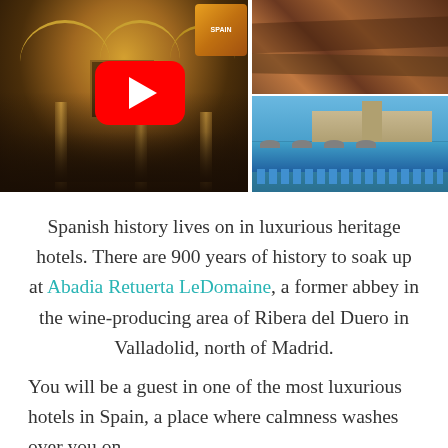[Figure (photo): Collage of three travel photos: left shows a luxurious Gothic-arched hotel interior with warm lighting and lounge furniture; top-right shows red-orange rocky cliffs/terrain; bottom-right shows a hotel pool area with lounge chairs and umbrellas, stone buildings and a tower in the background. A large YouTube play button overlay is centered on the collage, and a 'Spain' logo badge appears at the top center.]
Spanish history lives on in luxurious heritage hotels. There are 900 years of history to soak up at Abadia Retuerta LeDomaine, a former abbey in the wine-producing area of Ribera del Duero in Valladolid, north of Madrid.
You will be a guest in one of the most luxurious hotels in Spain, a place where calmness washes over you on